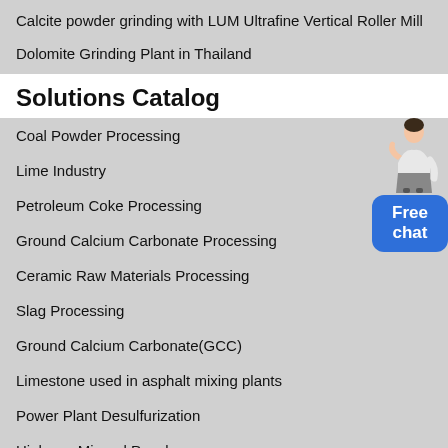Calcite powder grinding with LUM Ultrafine Vertical Roller Mill
Dolomite Grinding Plant in Thailand
Solutions Catalog
Coal Powder Processing
Lime Industry
Petroleum Coke Processing
Ground Calcium Carbonate Processing
Ceramic Raw Materials Processing
Slag Processing
Ground Calcium Carbonate(GCC)
Limestone used in asphalt mixing plants
Power Plant Desulfurization
Highway Mineral Powder